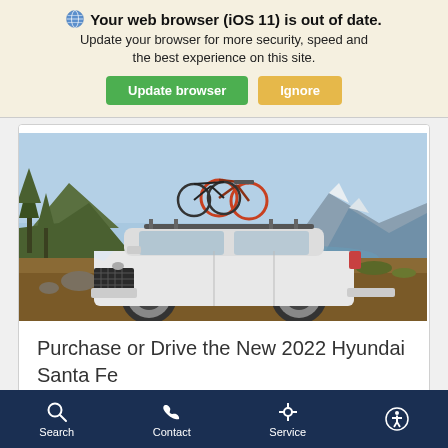🌐 Your web browser (iOS 11) is out of date. Update your browser for more security, speed and the best experience on this site. [Update browser] [Ignore]
[Figure (photo): White 2022 Hyundai Santa Fe SUV with bicycles mounted on the roof rack, parked on rocky terrain with mountains and a lake in the background under a blue sky.]
Purchase or Drive the New 2022 Hyundai Santa Fe
Search   Contact   Service   [Accessibility icon]